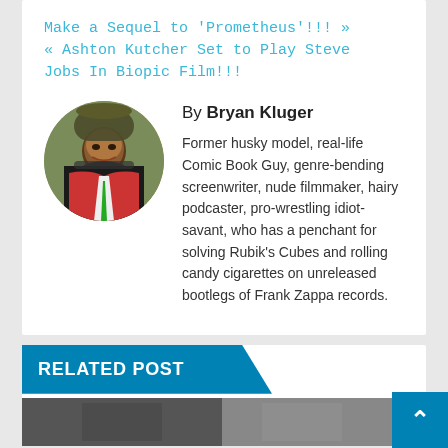Make a Sequel to ‘Prometheus’!!! » « Ashton Kutcher Set to Play Steve Jobs In Biopic Film!!!
By Bryan Kluger
Former husky model, real-life Comic Book Guy, genre-bending screenwriter, nude filmmaker, hairy podcaster, pro-wrestling idiot-savant, who has a penchant for solving Rubik’s Cubes and rolling candy cigarettes on unreleased bootlegs of Frank Zappa records.
RELATED POST
[Figure (photo): Partial view of a photo strip at the bottom of the page]